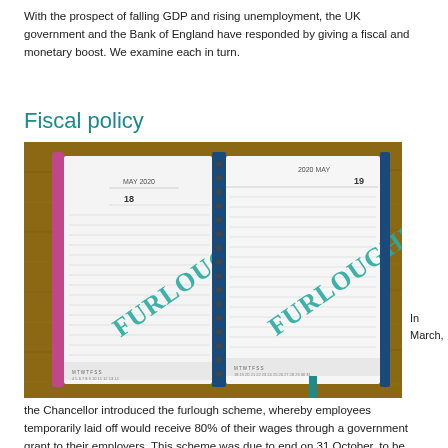With the prospect of falling GDP and rising unemployment, the UK government and the Bank of England have responded by giving a fiscal and monetary boost. We examine each in turn.
Fiscal policy
[Figure (photo): An open diary/planner showing May 2020 pages (dates 18 and 19), with the word FURLOUGHED written in teal/green handwriting across both pages. The diary sits on a wooden surface.]
In March, the Chancellor introduced the furlough scheme, whereby employees temporarily laid off would receive 80% of their wages through a government grant to their employers. This scheme was due to end on 31 October, to be